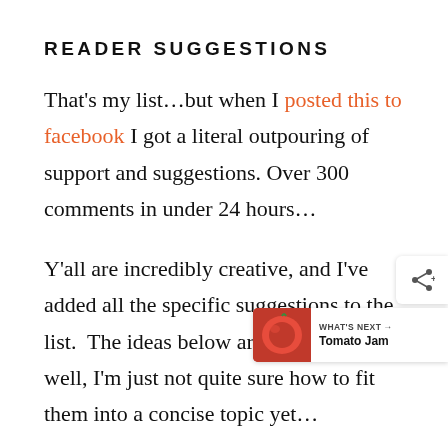READER SUGGESTIONS
That's my list…but when I posted this to facebook I got a literal outpouring of support and suggestions. Over 300 comments in under 24 hours…
Y'all are incredibly creative, and I've added all the specific suggestions to the list. The ideas below are excellent as well, I'm just not quite sure how to fit them into a concise topic yet…